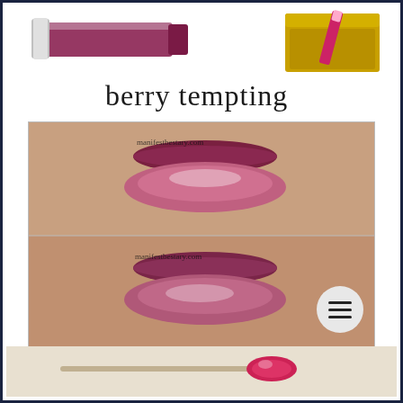[Figure (photo): Product photo showing a berry-colored lip gloss tube and gold compact/case, with text 'berry tempting' in handwritten style font]
[Figure (photo): Two close-up swatch photos of lips wearing berry tempting lip gloss shade, each with watermark 'manifestbestary.com']
[Figure (photo): Partial photo at bottom showing a lip gloss applicator wand with red/pink product on it]